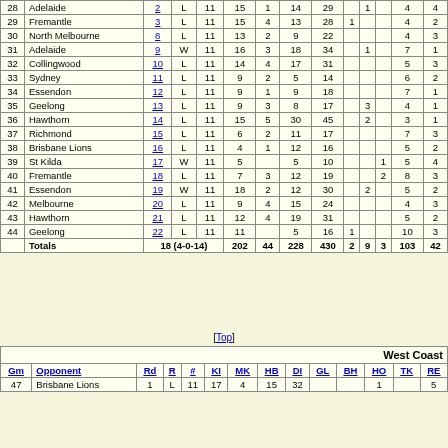| Gm | Opponent | Rd | R | # | KI | MK | HB | DI | GL | BH | HO | TK | RE |
| --- | --- | --- | --- | --- | --- | --- | --- | --- | --- | --- | --- | --- | --- |
| 28 | Adelaide | 2 | L | 11 | 15 | 1 | 14 | 29 |  | 1 |  | 4 | 4 |
| 29 | Fremantle | 3 | L | 11 | 15 | 4 | 13 | 28 | 1 |  |  | 4 | 2 |
| 30 | North Melbourne | 8 | L | 11 | 13 | 2 | 9 | 22 |  |  |  | 4 | 3 |
| 31 | Adelaide | 9 | W | 11 | 16 | 3 | 18 | 34 |  | 1 |  | 7 | 1 |
| 32 | Collingwood | 10 | L | 11 | 14 | 4 | 17 | 31 |  |  |  | 5 | 3 |
| 33 | Sydney | 11 | L | 11 | 9 | 2 | 5 | 14 |  |  |  | 6 | 2 |
| 34 | Essendon | 12 | L | 11 | 9 | 1 | 9 | 18 |  |  |  | 7 | 1 |
| 35 | Geelong | 13 | L | 11 | 9 | 3 | 8 | 17 |  | 3 |  | 4 | 1 |
| 36 | Hawthorn | 14 | L | 11 | 15 | 5 | 30 | 45 |  | 2 |  | 3 | 1 |
| 37 | Richmond | 15 | L | 11 | 6 | 2 | 11 | 17 |  |  |  | 7 | 3 |
| 38 | Brisbane Lions | 16 | L | 11 | 4 | 1 | 12 | 16 |  |  |  | 5 | 2 |
| 39 | St Kilda | 17 | W | 11 | 5 |  | 5 | 10 |  |  | 1 | 5 | 4 |
| 40 | Fremantle | 18 | L | 11 | 7 | 3 | 12 | 19 |  |  | 2 | 8 | 3 |
| 41 | Essendon | 19 | W | 11 | 18 | 2 | 12 | 30 |  | 2 |  | 5 | 2 |
| 42 | Melbourne | 20 | L | 11 | 9 | 4 | 15 | 24 |  |  |  | 4 | 3 |
| 43 | Hawthorn | 21 | L | 11 | 12 | 4 | 19 | 31 |  |  |  | 5 | 2 |
| 44 | Geelong | 22 | L | 11 | 11 |  | 5 | 16 | 1 |  |  | 10 | 3 |
|  | Totals | 18 (4-0-14) |  |  | 202 | 44 | 228 | 430 | 2 | 9 | 3 | 103 | 42 |
[Top]
| Gm | Opponent | Rd | R | # | KI | MK | HB | DI | GL | BH | HO | TK | RE |
| --- | --- | --- | --- | --- | --- | --- | --- | --- | --- | --- | --- | --- | --- |
| 47 | ... | 1 | L | 11 | 17 | 4 | 15 | 32 |  |  | 1 |  | 5 |